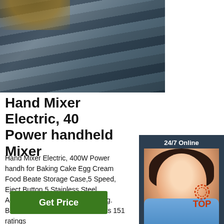[Figure (photo): Steel metal rods/bars stacked in a pile, industrial setting]
[Figure (photo): Customer service agent woman smiling with headset, 24/7 Online chat panel with dark blue background, Click here for free chat button and QUOTATION orange button]
Hand Mixer Electric, 400W Power handheld Mixer
Hand Mixer Electric, 400W Power handheld Mixer for Baking Cake Egg Cream Food Beater Storage Case,5 Speed, Eject Button,5 Stainless Steel Accessories for Baking & Cooking. Brand: LOVFIVE 4.2 out of 5 stars 151 ratings
Get Price